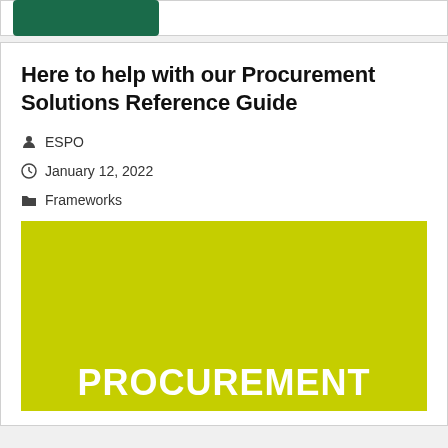[Figure (other): Green button/banner at top of page]
Here to help with our Procurement Solutions Reference Guide
ESPO
January 12, 2022
Frameworks
[Figure (illustration): Yellow-green banner with white bold text reading PROCUREMENT]